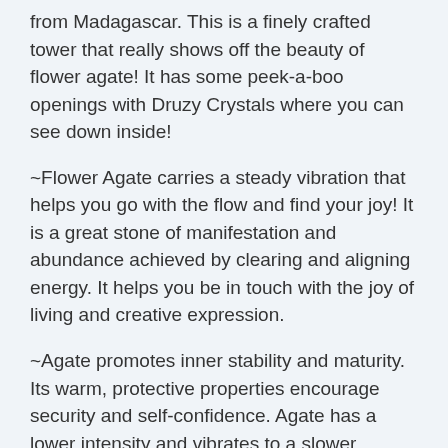from Madagascar. This is a finely crafted tower that really shows off the beauty of flower agate! It has some peek-a-boo openings with Druzy Crystals where you can see down inside!
~Flower Agate carries a steady vibration that helps you go with the flow and find your joy! It is a great stone of manifestation and abundance achieved by clearing and aligning energy. It helps you be in touch with the joy of living and creative expression.
~Agate promotes inner stability and maturity. Its warm, protective properties encourage security and self-confidence. Agate has a lower intensity and vibrates to a slower frequency than other stones, but is highly regarded as a stabilizing and strengthening influence. Agate is excellent for balancing emotional, physical and intellectual energy, and in harmonizing yin and